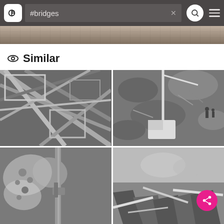#bridges
Similar
[Figure (photo): Black and white close-up of steel bridge structural beams and girders at an angle]
[Figure (photo): Aerial black and white photograph of construction site with crane/excavator and debris]
[Figure (photo): Black and white photo of decorative butterfly or ornamental architectural detail on bridge]
[Figure (photo): Black and white photo of collapsed or demolished bridge rubble and ruins]